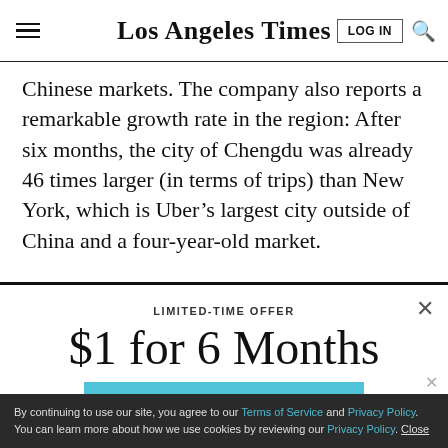Los Angeles Times
Chinese markets. The company also reports a remarkable growth rate in the region: After six months, the city of Chengdu was already 46 times larger (in terms of trips) than New York, which is Uber's largest city outside of China and a four-year-old market.
LIMITED-TIME OFFER
$1 for 6 Months
SUBSCRIBE NOW
By continuing to use our site, you agree to our Terms of Service and Privacy Policy. You can learn more about how we use cookies by reviewing our Privacy Policy. Close